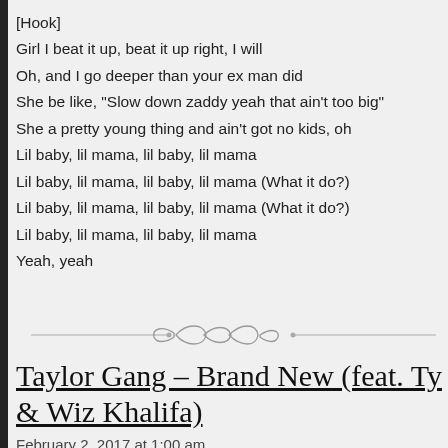[Hook]
Girl I beat it up, beat it up right, I will
Oh, and I go deeper than your ex man did
She be like, "Slow down zaddy yeah that ain't too big"
She a pretty young thing and ain't got no kids, oh
Lil baby, lil mama, lil baby, lil mama
Lil baby, lil mama, lil baby, lil mama (What it do?)
Lil baby, lil mama, lil baby, lil mama (What it do?)
Lil baby, lil mama, lil baby, lil mama
Yeah, yeah
[Figure (illustration): Decorative divider line with ornamental scrollwork in the center]
Taylor Gang – Brand New (feat. Ty... & Wiz Khalifa)
February 2, 2017 at 1:00 am